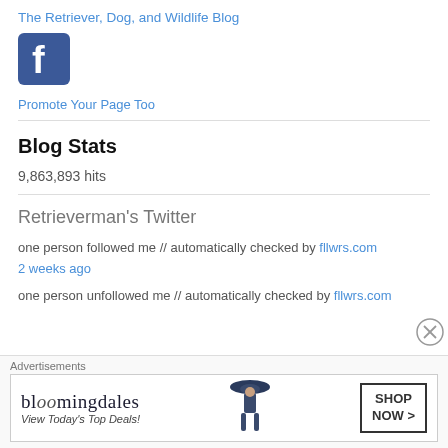The Retriever, Dog, and Wildlife Blog
[Figure (logo): Facebook logo icon - blue square with white 'f']
Promote Your Page Too
Blog Stats
9,863,893 hits
Retrieverman's Twitter
one person followed me // automatically checked by fllwrs.com
2 weeks ago
one person unfollowed me // automatically checked by fllwrs.com
Advertisements
[Figure (infographic): Bloomingdales advertisement - View Today's Top Deals with Shop Now button and woman in hat]